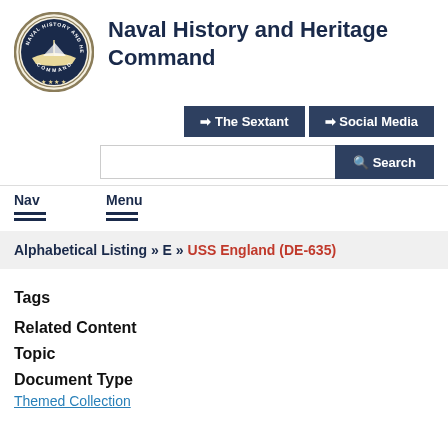[Figure (logo): Naval History and Heritage Command circular seal/logo with a ship illustration]
Naval History and Heritage Command
The Sextant | Social Media
Search bar
Nav   Menu
Alphabetical Listing » E » USS England (DE-635)
Tags
Related Content
Topic
Document Type
Themed Collection